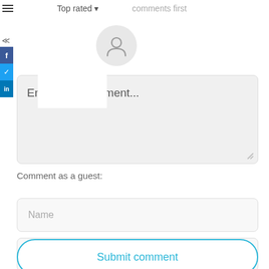[Figure (screenshot): Top bar with hamburger menu icon and 'Top rated' dropdown with 'comments first' text]
[Figure (illustration): User avatar circle with person silhouette icon]
Enter your comment...
Comment as a guest:
Name
Email (not displayed publicly)
Submit comment